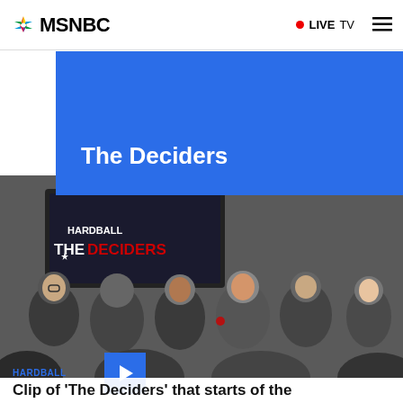MSNBC  ● LIVE TV  ☰
The Deciders
[Figure (photo): Crowd of people watching a screen displaying 'Hardball The Deciders' at a live event]
HARDBALL
Clip of 'The Deciders' that starts of the...